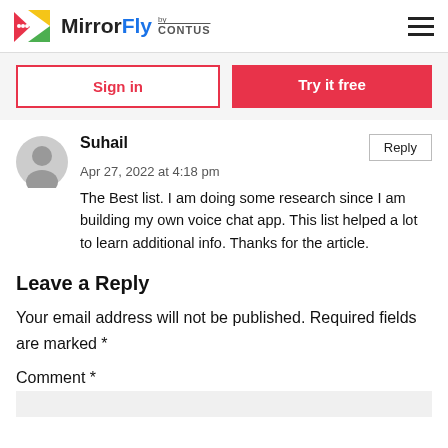MirrorFly by CONTUS
Sign in | Try it free
Suhail
Apr 27, 2022 at 4:18 pm
The Best list. I am doing some research since I am building my own voice chat app. This list helped a lot to learn additional info. Thanks for the article.
Leave a Reply
Your email address will not be published. Required fields are marked *
Comment *